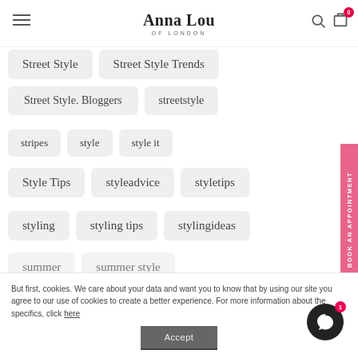Anna Lou OF LONDON
Street Style
Street Style Trends
Street Style. Bloggers
streetstyle
stripes
style
style it
Style Tips
styleadvice
styletips
styling
styling tips
stylingideas
summer
summer style
But first, cookies. We care about your data and want you to know that by using our site you agree to our use of cookies to create a better experience. For more information about the specifics, click here
Accept